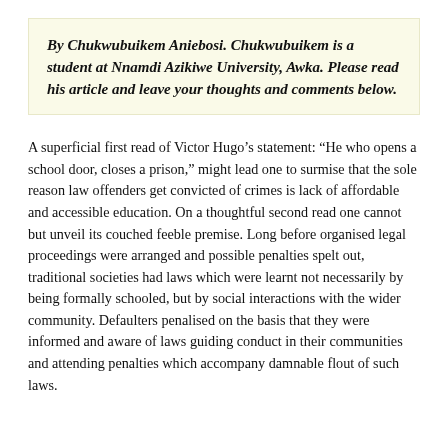By Chukwubuikem Aniebosi. Chukwubuikem is a student at Nnamdi Azikiwe University, Awka. Please read his article and leave your thoughts and comments below.
A superficial first read of Victor Hugo’s statement: “He who opens a school door, closes a prison,” might lead one to surmise that the sole reason law offenders get convicted of crimes is lack of affordable and accessible education. On a thoughtful second read one cannot but unveil its couched feeble premise. Long before organised legal proceedings were arranged and possible penalties spelt out, traditional societies had laws which were learnt not necessarily by being formally schooled, but by social interactions with the wider community. Defaulters penalised on the basis that they were informed and aware of laws guiding conduct in their communities and attending penalties which accompany damnable flout of such laws.